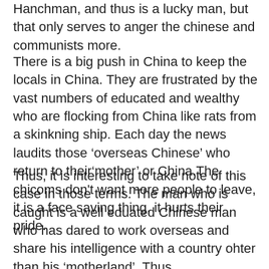Hanchman, and thus is a lucky man, but that only serves to anger the chinese and communists more.
There is a big push in China to keep the locals in China. They are frustrated by the vast numbers of educated and wealthy who are flocking from China like rats from a skinkning ship. Each day the news laudits those ‘overseas Chinese’ who return to their‘mother’ or China.The chicoms don't want more people to leave, it is a face saving thing, it hurts their pride.
Thus, it is interesting to take note of this case in those terms. The man who is caught is a well eduated Chinese man who has dared to work overseas and share his intelligence with a country ohter than his ‘motherland’. Thus, irrepespective of if he was spying or not, as to me, that is just a detail for this piece, the Chinese are using him to make a point.